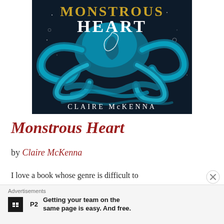[Figure (illustration): Book cover of 'Monstrous Heart' by Claire McKenna. Dark background with teal/blue illustrated tentacles and the title in gold/white serif lettering. Author name 'CLAIRE McKENNA' in white at the bottom of the cover.]
Monstrous Heart
by Claire McKenna
I love a book whose genre is difficult to
Advertisements
Getting your team on the same page is easy. And free.